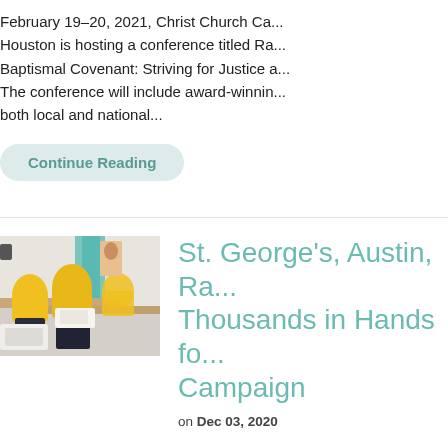February 19–20, 2021, Christ Church Ca... Houston is hosting a conference titled Ra... Baptismal Covenant: Striving for Justice a... The conference will include award-winnin... both local and national...
Continue Reading
[Figure (photo): People in yellow shirts working at tables, packing or sorting items in what appears to be a volunteer event in a church or community hall.]
St. George's, Austin, Ra... Thousands in Hands fo... Campaign
on Dec 03, 2020
Members of St. George's, Austin, raised d... Buen Samaritano's Hands for Hope camp...